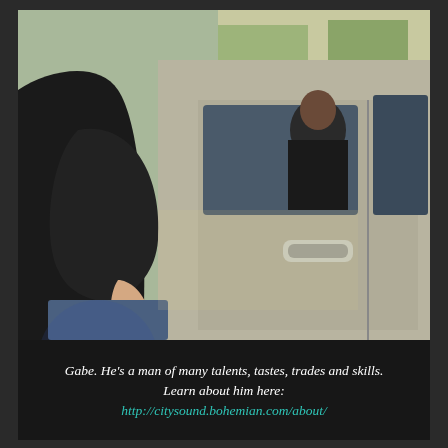[Figure (photo): Outdoor photo showing a man in a black t-shirt and jeans standing close to a silver/tan SUV or truck. Another person is visible reflected or seated inside the vehicle through the open window. The background shows a suburban setting with trees and buildings in daylight.]
Gabe. He's a man of many talents, tastes, trades and skills. Learn about him here: http://citysound.bohemian.com/about/